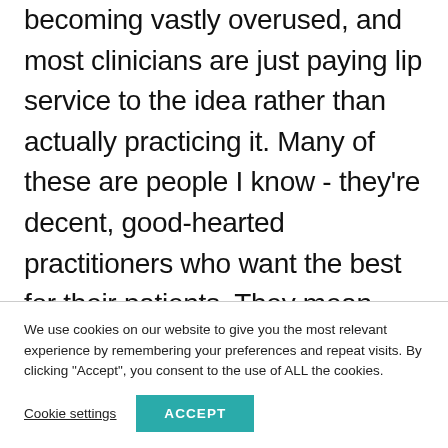becoming vastly overused, and most clinicians are just paying lip service to the idea rather than actually practicing it. Many of these are people I know - they're decent, good-hearted practitioners who want the best for their patients. They mean well, and think they're adhering to the model of patient-centred practice. They just aren't aware of their unconscious biases that let some old doctor-
We use cookies on our website to give you the most relevant experience by remembering your preferences and repeat visits. By clicking "Accept", you consent to the use of ALL the cookies.
Cookie settings
ACCEPT